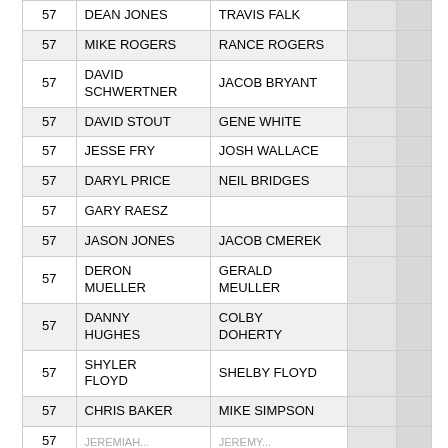| # | Name 1 | Name 2 |  |  |
| --- | --- | --- | --- | --- |
| 57 | DEAN JONES | TRAVIS FALK |  |  |
| 57 | MIKE ROGERS | RANCE ROGERS |  |  |
| 57 | DAVID SCHWERTNER | JACOB BRYANT |  |  |
| 57 | DAVID STOUT | GENE WHITE |  |  |
| 57 | JESSE FRY | JOSH WALLACE |  |  |
| 57 | DARYL PRICE | NEIL BRIDGES |  |  |
| 57 | GARY RAESZ |  |  |  |
| 57 | JASON JONES | JACOB CMEREK |  |  |
| 57 | DERON MUELLER | GERALD MEULLER |  |  |
| 57 | DANNY HUGHES | COLBY DOHERTY |  |  |
| 57 | SHYLER FLOYD | SHELBY FLOYD |  |  |
| 57 | CHRIS BAKER | MIKE SIMPSON |  |  |
| 57 | JEREMIAH... | JEREMY... |  |  |